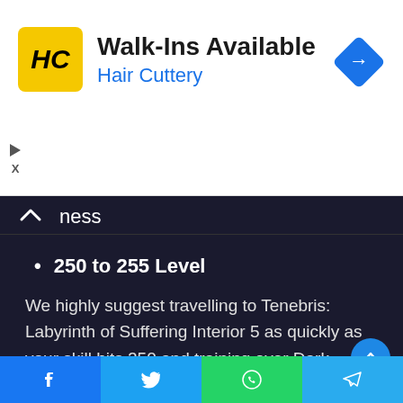[Figure (logo): Hair Cuttery advertisement banner with HC logo, Walk-Ins Available text, and blue navigation arrow icon]
ness
250 to 255 Level
We highly suggest travelling to Tenebris: Labyrinth of Suffering Interior 5 as quickly as your skill hits 250 and training over Dark Miscreation, Dark Construct. The creatures you'll face upon this map will almost certainly reward you with a large amount of EXP. Tenebris: Labyrinth of Suffering Inner 5 map is only accessible if you've finished all of the Moonbridge plot tasks. If you haven't already, finish the Esfera plot tasks to acquir
[Figure (screenshot): Social share bar with Facebook, Twitter, WhatsApp, and Telegram buttons]